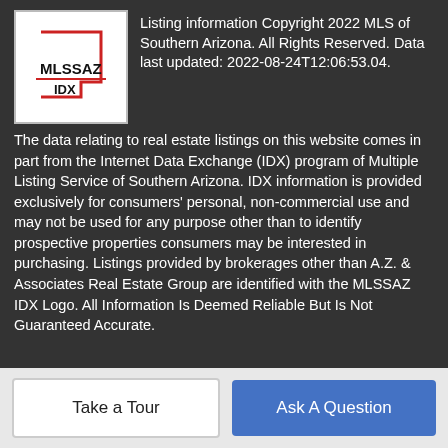Listing information Copyright 2022 MLS of Southern Arizona. All Rights Reserved. Data last updated: 2022-08-24T12:06:53.04.
The data relating to real estate listings on this website comes in part from the Internet Data Exchange (IDX) program of Multiple Listing Service of Southern Arizona. IDX information is provided exclusively for consumers' personal, non-commercial use and may not be used for any purpose other than to identify prospective properties consumers may be interested in purchasing. Listings provided by brokerages other than A.Z. & Associates Real Estate Group are identified with the MLSSAZ IDX Logo. All Information Is Deemed Reliable But Is Not Guaranteed Accurate.
BoomTown! © 2022
Terms of Use | Privacy Policy | Accessibility | DMCA | Listings Sitemap
Take a Tour
Ask A Question